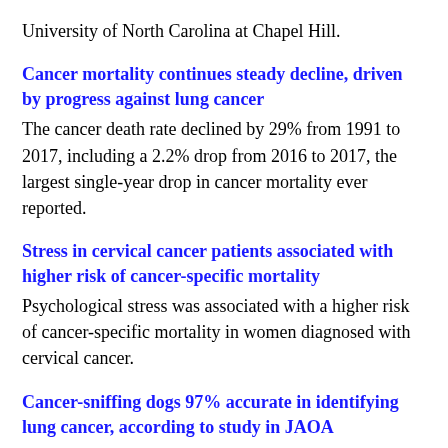University of North Carolina at Chapel Hill.
Cancer mortality continues steady decline, driven by progress against lung cancer
The cancer death rate declined by 29% from 1991 to 2017, including a 2.2% drop from 2016 to 2017, the largest single-year drop in cancer mortality ever reported.
Stress in cervical cancer patients associated with higher risk of cancer-specific mortality
Psychological stress was associated with a higher risk of cancer-specific mortality in women diagnosed with cervical cancer.
Cancer-sniffing dogs 97% accurate in identifying lung cancer, according to study in JAOA
The next step will be to further fractionate the samples based on chemical and physical properties, presenting them back